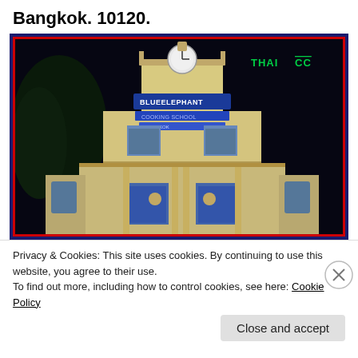Bangkok. 10120.
[Figure (photo): Night photograph of the Blue Elephant restaurant building in Bangkok – a colonial-style yellow building with arched windows, illuminated sign reading 'BLUE ELEPHANT' and a clock tower, photographed at night with a dark background and a 'THAI CC' sign visible in top right.]
Privacy & Cookies: This site uses cookies. By continuing to use this website, you agree to their use.
To find out more, including how to control cookies, see here: Cookie Policy
Close and accept